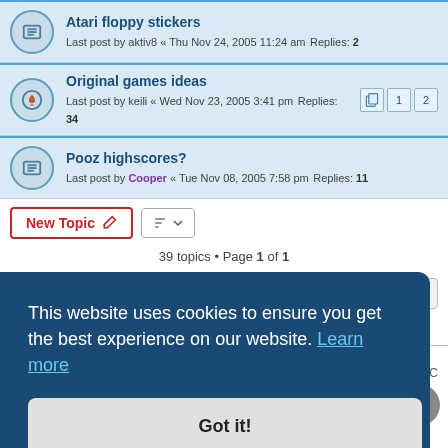Atari floppy stickers — Last post by aktiv8 « Thu Nov 24, 2005 11:24 am — Replies: 2
Original games ideas — Last post by keili « Wed Nov 23, 2005 3:41 pm — Replies: 34
Pooz highscores? — Last post by Cooper « Tue Nov 08, 2005 7:58 pm — Replies: 11
New Topic | sort | 39 topics • Page 1 of 1
Jump to
FORUM PERMISSIONS
This website uses cookies to ensure you get the best experience on our website. Learn more
Got it!
es are UTC
Privacy | Terms